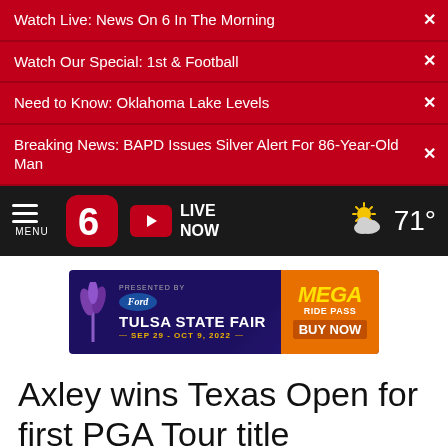Watch Live: News On 6 In The Morning
Watch Our Special: 1st & Football
Need to Know: Oklahoma Lake Levels
Breaking News: BAPD Issues Silver Alert For 86-Year-Old Man
MENU | 6 News | LIVE NOW | 71°
[Figure (screenshot): Tulsa State Fair advertisement banner: Presented by Ford, Sep 29 - Oct 9, 2022, MEGA RIDE PASS BUY NOW]
Axley wins Texas Open for first PGA Tour title
Monday, September 25th 2006,